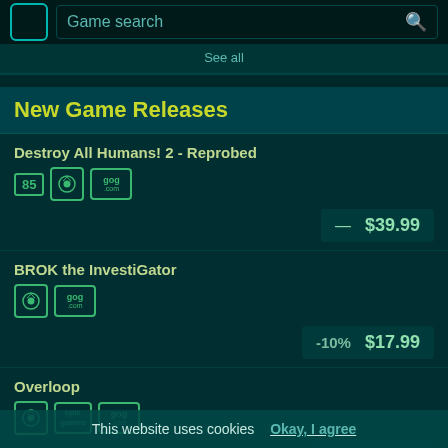Game search
See all
New Game Releases
Destroy All Humans! 2 - Reprobed
[85] [Steam] [GOG.com]
— $39.99
BROK the InvestiGator
[Steam] [GOG.com]
-10% $17.99
Overloop
[Steam] [Epic] [GOG.com]
-28% $8.63
Soul Hackers 2
[69] [Steam]
This website uses cookies  Okay, I agree